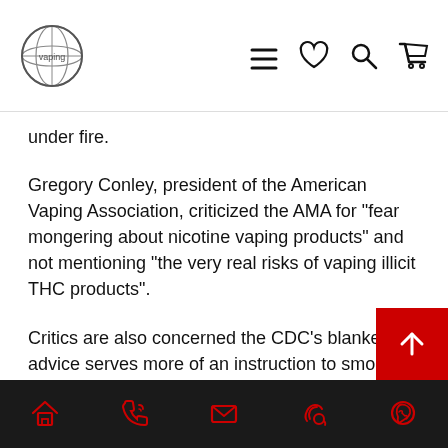[Navigation bar with logo and icons]
under fire.
Gregory Conley, president of the American Vaping Association, criticized the AMA for "fear mongering about nicotine vaping products" and not mentioning "the very real risks of vaping illicit THC products".
Critics are also concerned the CDC's blanket advice serves more of an instruction to smokers to keep smoking tobacco than helping to prevent further hospitalizations of those who are vaping black market THC products.
Public health expert Dr. Michael Siegel, a leading doctor and researcher at the Boston University School of Public Health called it “irresponsible” adding: “There are millions of people who are vaping nicotine-containing e-liquids and it would n…
[Bottom navigation bar with home, phone, mail, call, whatsapp icons]